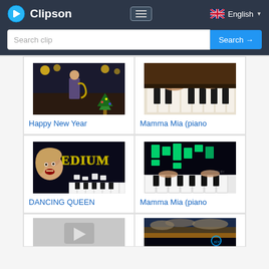Clipson — English
Search clip  Search →
Happy New Year
Mamma Mia (piano
DANCING QUEEN
Mamma Mia (piano